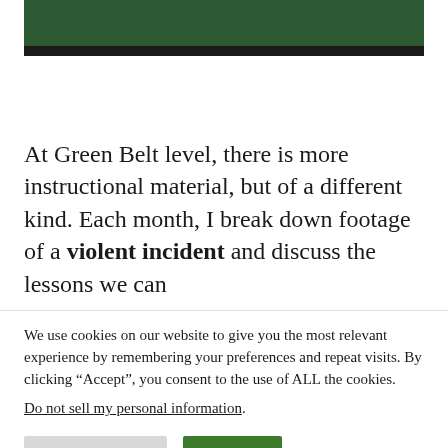[Figure (photo): Chalkboard image — green chalkboard surface with a black bar beneath it]
At Green Belt level, there is more instructional material, but of a different kind. Each month, I break down footage of a violent incident and discuss the lessons we can
We use cookies on our website to give you the most relevant experience by remembering your preferences and repeat visits. By clicking “Accept”, you consent to the use of ALL the cookies.
Do not sell my personal information.
Cookie Settings   Accept